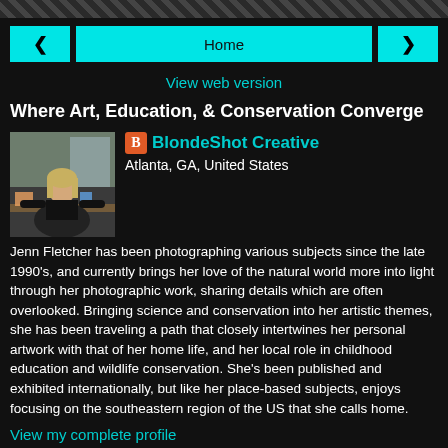Home
View web version
Where Art, Education, & Conservation Converge
[Figure (photo): Profile photo of Jenn Fletcher sitting at a desk with art supplies and books]
BlondeShot Creative
Atlanta, GA, United States
Jenn Fletcher has been photographing various subjects since the late 1990's, and currently brings her love of the natural world more into light through her photographic work, sharing details which are often overlooked. Bringing science and conservation into her artistic themes, she has been traveling a path that closely intertwines her personal artwork with that of her home life, and her local role in childhood education and wildlife conservation. She's been published and exhibited internationally, but like her place-based subjects, enjoys focusing on the southeastern region of the US that she calls home.
View my complete profile
Powered by Blogger.